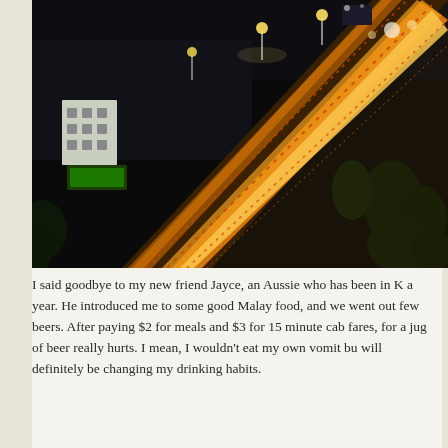[Figure (photo): Aerial night photograph of a highway with orange light trails from car headlights, viewed from above at an angle. Street lights illuminate the road. Buildings and trees visible in the background.]
I said goodbye to my new friend Jayce, an Aussie who has been in K a year. He introduced me to some good Malay food, and we went out few beers. After paying $2 for meals and $3 for 15 minute cab fares, for a jug of beer really hurts. I mean, I wouldn't eat my own vomit bu will definitely be changing my drinking habits.